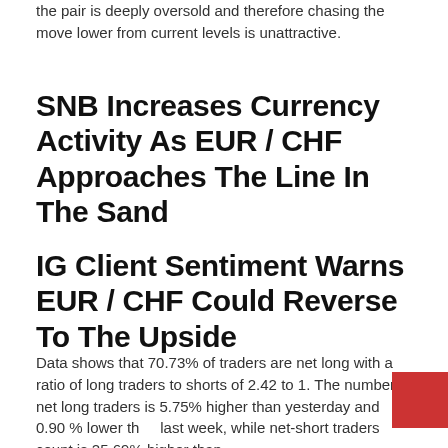the pair is deeply oversold and therefore chasing the move lower from current levels is unattractive.
SNB Increases Currency Activity As EUR / CHF Approaches The Line In The Sand
IG Client Sentiment Warns EUR / CHF Could Reverse To The Upside
Data shows that 70.73% of traders are net long with a ratio of long traders to shorts of 2.42 to 1. The number of net long traders is 5.75% higher than yesterday and 0.90 % lower than last week, while net-short traders count is 25.69% higher than